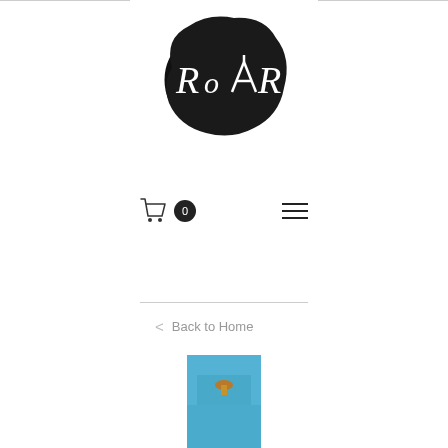[Figure (logo): ROAR brand logo — white hand-drawn text 'ROAR' (with the A as a tent/tipi symbol) inside a black oval ink-blot shape]
[Figure (infographic): Navigation bar with shopping cart icon and '0' badge on the left, and a hamburger menu icon (three horizontal lines) on the right]
< Back to Home
[Figure (photo): Partial product photo showing a blue textured background with a small gold/brown mushroom-shaped object in the center-top area]